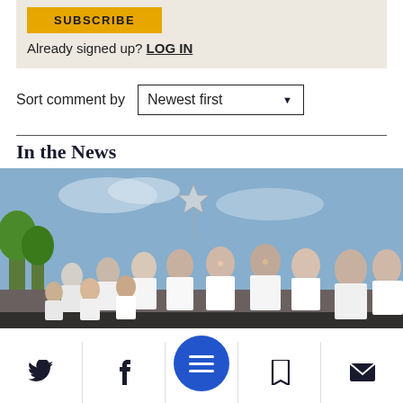SUBSCRIBE
Already signed up? LOG IN
Sort comment by  Newest first
In the News
[Figure (photo): Group of children and young people wearing white t-shirts outdoors, with a silver star balloon in the sky and trees in the background.]
[Figure (infographic): Bottom navigation bar with Twitter, Facebook, hamburger menu (blue circle), bookmark, and mail icons.]